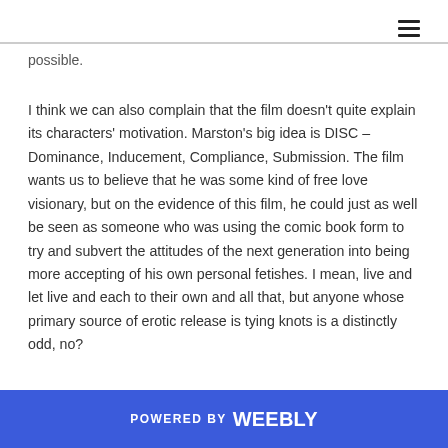possible.
I think we can also complain that the film doesn't quite explain its characters' motivation. Marston's big idea is DISC – Dominance, Inducement, Compliance, Submission. The film wants us to believe that he was some kind of free love visionary, but on the evidence of this film, he could just as well be seen as someone who was using the comic book form to try and subvert the attitudes of the next generation into being more accepting of his own personal fetishes. I mean, live and let live and each to their own and all that, but anyone whose primary source of erotic release is tying knots is a distinctly odd, no?
POWERED BY weebly